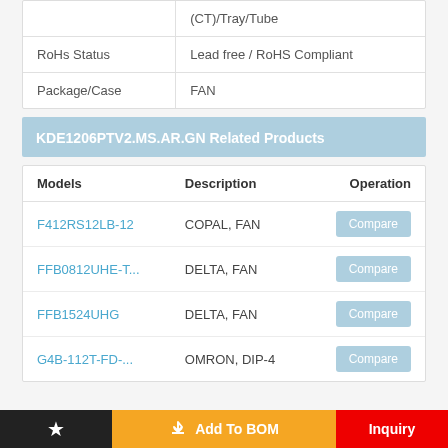|  |  |
| --- | --- |
|  | (CT)/Tray/Tube |
| RoHs Status | Lead free / RoHS Compliant |
| Package/Case | FAN |
KDE1206PTV2.MS.AR.GN Related Products
| Models | Description | Operation |
| --- | --- | --- |
| F412RS12LB-12 | COPAL, FAN | Compare |
| FFB0812UHE-T... | DELTA, FAN | Compare |
| FFB1524UHG | DELTA, FAN | Compare |
| G4B-112T-FD-... | OMRON, DIP-4 | Compare |
★  Add To BOM  Inquiry